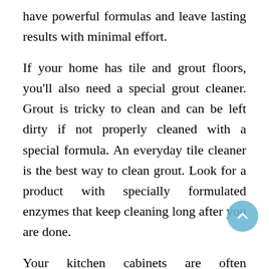have powerful formulas and leave lasting results with minimal effort.
If your home has tile and grout floors, you'll also need a special grout cleaner. Grout is tricky to clean and can be left dirty if not properly cleaned with a special formula. An everyday tile cleaner is the best way to clean grout. Look for a product with specially formulated enzymes that keep cleaning long after you are done.
Your kitchen cabinets are often overlooked, but when dirty can make the entire kitchen look dirtier than it is. Go with a cabinet